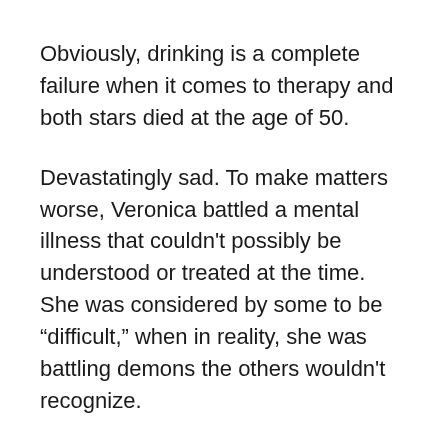Obviously, drinking is a complete failure when it comes to therapy and both stars died at the age of 50.
Devastatingly sad. To make matters worse, Veronica battled a mental illness that couldn't possibly be understood or treated at the time. She was considered by some to be “difficult,” when in reality, she was battling demons the others wouldn't recognize.
I've spent a great deal of time looking into both of their lives, looking for rays of sunshine – time or times when they were happy. A friendship/relationship Alan Ladd shared with June Allyson seems to have given him happiness while it lasted and both stars seemed to enjoy working together. I also love the fact that they were successful in their careers (especially during the 40s) and knew how many fans adored them.